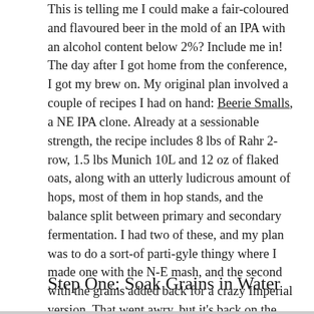This is telling me I could make a fair-coloured and flavoured beer in the mold of an IPA with an alcohol content below 2%? Include me in! The day after I got home from the conference, I got my brew on. My original plan involved a couple of recipes I had on hand: Beerie Smalls, a NE IPA clone. Already at a sessionable strength, the recipe includes 8 lbs of Rahr 2-row, 1.5 lbs Munich 10L and 12 oz of flaked oats, along with an utterly ludicrous amount of hops, most of them in hop stands, and the balance split between primary and secondary fermentation. I had two of these, and my plan was to do a sort-of parti-gyle thingy where I made one with the N-E mash, and the second with the grains added back for a crazy Imperial version. That went awry, but it's back on the menu in the future. Here's what I did the first time out.
Step One: Soak Grains in Water